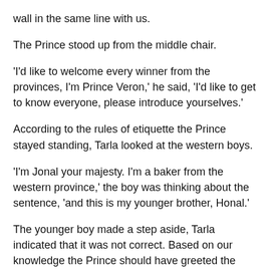wall in the same line with us.
The Prince stood up from the middle chair.
'I'd like to welcome every winner from the provinces, I'm Prince Veron,' he said, 'I'd like to get to know everyone, please introduce yourselves.'
According to the rules of etiquette the Prince stayed standing, Tarla looked at the western boys.
'I'm Jonal your majesty. I'm a baker from the western province,' the boy was thinking about the sentence, 'and this is my younger brother, Honal.'
The younger boy made a step aside, Tarla indicated that it was not correct. Based on our knowledge the Prince should have greeted the guest before the family, but it already didn't matter. The boys even forgot to thank the